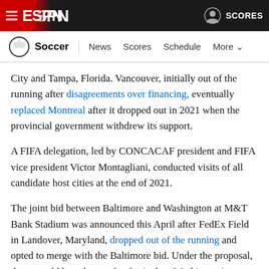ESPN Soccer — News Scores Schedule More
City and Tampa, Florida. Vancouver, initially out of the running after disagreements over financing, eventually replaced Montreal after it dropped out in 2021 when the provincial government withdrew its support.
A FIFA delegation, led by CONCACAF president and FIFA vice president Victor Montagliani, conducted visits of all candidate host cities at the end of 2021.
The joint bid between Baltimore and Washington at M&T Bank Stadium was announced this April after FedEx Field in Landover, Maryland, dropped out of the running and opted to merge with the Baltimore bid. Under the proposal, there would have been a fan festival on Washington's National Mall.